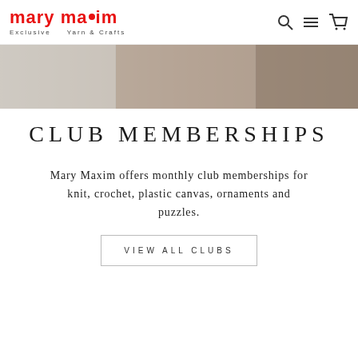mary maxim — Exclusive Yarn & Crafts
[Figure (photo): Banner image strip showing crafts/yarn items in muted warm tones]
CLUB MEMBERSHIPS
Mary Maxim offers monthly club memberships for knit, crochet, plastic canvas, ornaments and puzzles.
VIEW ALL CLUBS